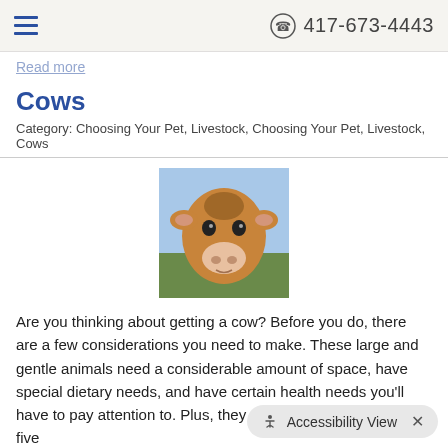≡  417-673-4443
Read more
Cows
Category: Choosing Your Pet, Livestock, Choosing Your Pet, Livestock, Cows
[Figure (photo): Close-up photo of a brown cow face looking directly at the camera against a blue sky and green field background]
Are you thinking about getting a cow? Before you do, there are a few considerations you need to make. These large and gentle animals need a considerable amount of space, have special dietary needs, and have certain health needs you'll have to pay attention to. Plus, they can live for up to twenty-five
Read more
Sheep